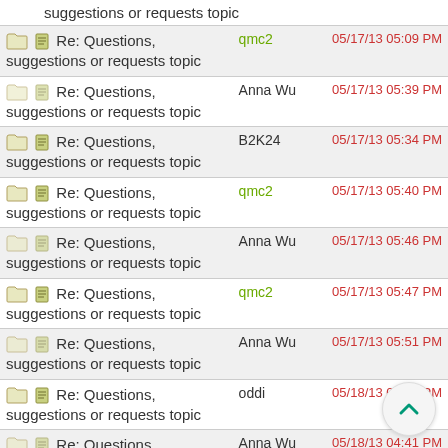| Topic | Author | Date |
| --- | --- | --- |
| suggestions or requests topic |  |  |
| Re: Questions, suggestions or requests topic | qmc2 | 05/17/13 05:09 PM |
| Re: Questions, suggestions or requests topic | Anna Wu | 05/17/13 05:39 PM |
| Re: Questions, suggestions or requests topic | B2K24 | 05/17/13 05:34 PM |
| Re: Questions, suggestions or requests topic | qmc2 | 05/17/13 05:40 PM |
| Re: Questions, suggestions or requests topic | Anna Wu | 05/17/13 05:46 PM |
| Re: Questions, suggestions or requests topic | qmc2 | 05/17/13 05:47 PM |
| Re: Questions, suggestions or requests topic | Anna Wu | 05/17/13 05:51 PM |
| Re: Questions, suggestions or requests topic | oddi | 05/18/13 03:20 PM |
| Re: Questions, suggestions or requests topic | Anna Wu | 05/18/13 04:41 PM |